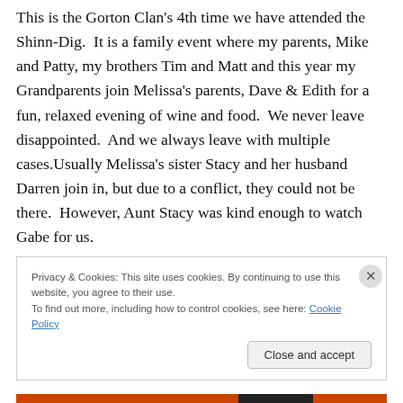This is the Gorton Clan's 4th time we have attended the Shinn-Dig. It is a family event where my parents, Mike and Patty, my brothers Tim and Matt and this year my Grandparents join Melissa's parents, Dave & Edith for a fun, relaxed evening of wine and food. We never leave disappointed. And we always leave with multiple cases.Usually Melissa's sister Stacy and her husband Darren join in, but due to a conflict, they could not be there. However, Aunt Stacy was kind enough to watch Gabe for us.
Privacy & Cookies: This site uses cookies. By continuing to use this website, you agree to their use.
To find out more, including how to control cookies, see here: Cookie Policy